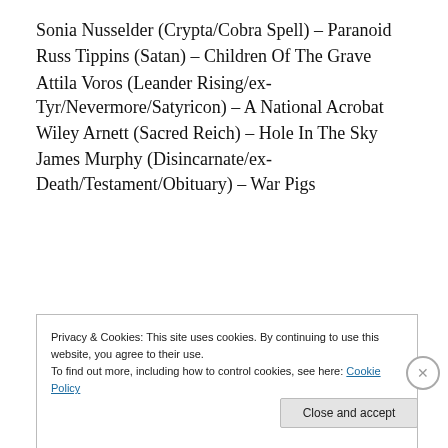Sonia Nusselder (Crypta/Cobra Spell) – Paranoid
Russ Tippins (Satan) – Children Of The Grave
Attila Voros (Leander Rising/ex-Tyr/Nevermore/Satyricon) – A National Acrobat
Wiley Arnett (Sacred Reich) – Hole In The Sky
James Murphy (Disincarnate/ex-Death/Testament/Obituary) – War Pigs
[Figure (other): Advertisement banner: 'Professionally designed sites in less than a week' with WordPress logo]
Privacy & Cookies: This site uses cookies. By continuing to use this website, you agree to their use.
To find out more, including how to control cookies, see here: Cookie Policy
Close and accept